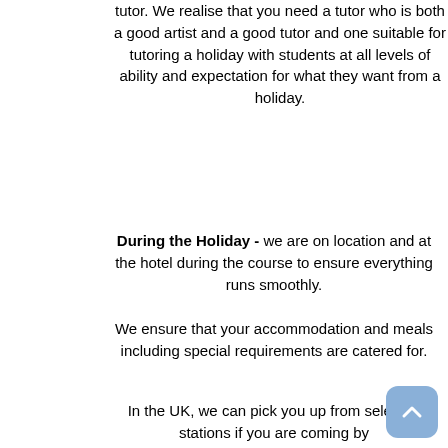tutor. We realise that you need a tutor who is both a good artist and a good tutor and one suitable for tutoring a holiday with students at all levels of ability and expectation for what they want from a holiday.
During the Holiday - we are on location and at the hotel during the course to ensure everything runs smoothly.
We ensure that your accommodation and meals including special requirements are catered for.
In the UK, we can pick you up from selected stations if you are coming by